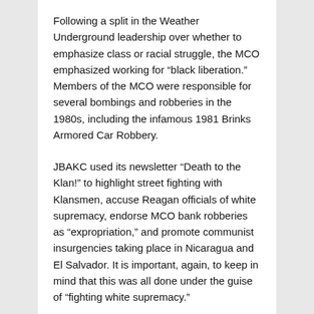Following a split in the Weather Underground leadership over whether to emphasize class or racial struggle, the MCO emphasized working for “black liberation.” Members of the MCO were responsible for several bombings and robberies in the 1980s, including the infamous 1981 Brinks Armored Car Robbery.
JBAKC used its newsletter “Death to the Klan!” to highlight street fighting with Klansmen, accuse Reagan officials of white supremacy, endorse MCO bank robberies as “expropriation,” and promote communist insurgencies taking place in Nicaragua and El Salvador. It is important, again, to keep in mind that this was all done under the guise of “fighting white supremacy.”
The logic of JBAKC and the May 19th Communist Organization, and the same ideology which drives Antifa today, was that at its core the United States was founded on white supremacy, and therefore needs to be destroyed. Their “Cops and Klan Go Hand in Hand” slogan suggests